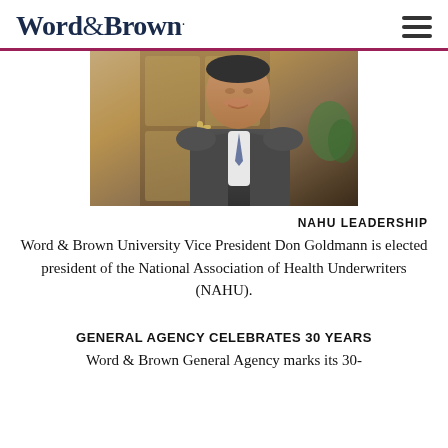Word&Brown.
[Figure (photo): Portrait photo of Don Goldmann, Word & Brown University Vice President, smiling in a suit and tie in front of a door]
NAHU LEADERSHIP
Word & Brown University Vice President Don Goldmann is elected president of the National Association of Health Underwriters (NAHU).
GENERAL AGENCY CELEBRATES 30 YEARS
Word & Brown General Agency marks its 30-